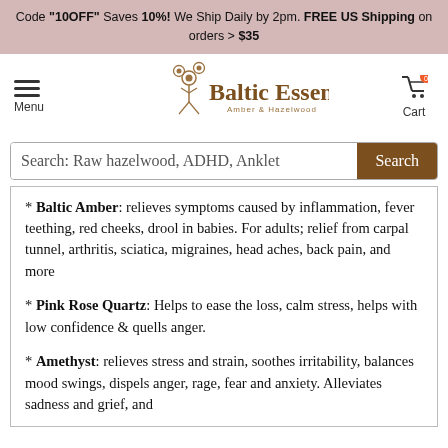Code "10OFF" Saves 10%! We Ship Daily by 2pm. FREE US Shipping on orders > $35
[Figure (logo): Baltic Essentials Amber & Hazelwood logo with decorative tree design]
Search: Raw hazelwood, ADHD, Anklet
* Baltic Amber: relieves symptoms caused by inflammation, fever teething, red cheeks, drool in babies. For adults; relief from carpal tunnel, arthritis, sciatica, migraines, head aches, back pain, and more
* Pink Rose Quartz: Helps to ease the loss, calm stress, helps with low confidence & quells anger.
* Amethyst: relieves stress and strain, soothes irritability, balances mood swings, dispels anger, rage, fear and anxiety. Alleviates sadness and grief, and